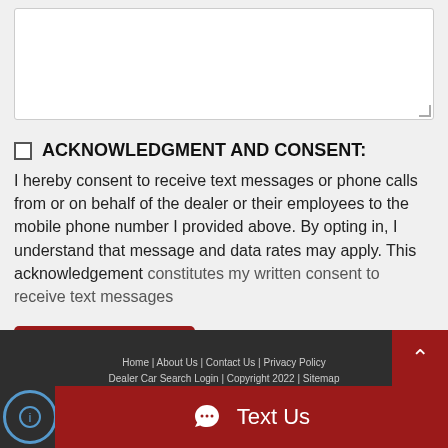[textarea input field]
ACKNOWLEDGMENT AND CONSENT:
I hereby consent to receive text messages or phone calls from or on behalf of the dealer or their employees to the mobile phone number I provided above. By opting in, I understand that message and data rates may apply. This acknowledgement
Send Inquiry
Home | About Us | Contact Us | Privacy Policy
Dealer Car Search Login | Copyright 2022 | Sitemap
Text Us